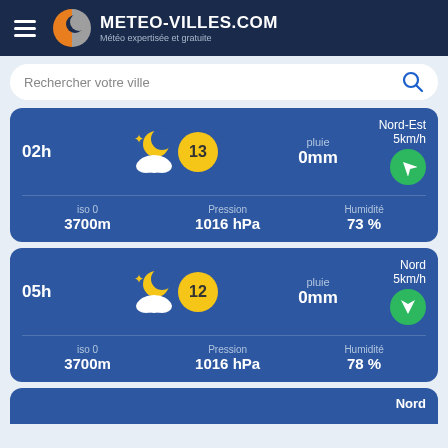[Figure (logo): Meteo-Villes.com logo with orange and grey half-circle icon and white text on dark navy background]
Rechercher votre ville
02h | pluie 0mm | Nord-Est 5km/h | iso 0 3700m | Pression 1016 hPa | Humidité 73 %
05h | pluie 0mm | Nord 5km/h | iso 0 3700m | Pression 1016 hPa | Humidité 78 %
Nord